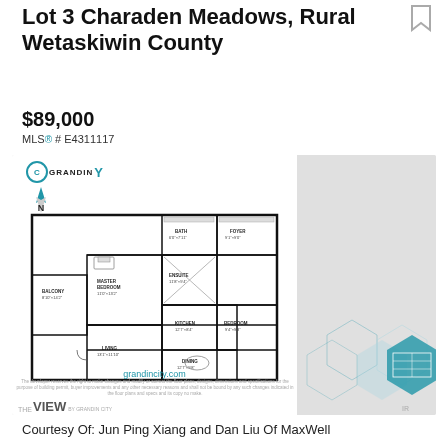Lot 3 Charaden Meadows, Rural Wetaskiwin County
$89,000
MLS® # E4311117
[Figure (engineering-diagram): Floor plan diagram for a residential unit showing rooms including Master Bedroom, Living, Balcony, Kitchen, Ensuite, Bath, Foyer, Bedroom, and Dining, with north arrow and Grandin City branding. Website: grandincity.com]
Courtesy Of: Jun Ping Xiang and Dan Liu Of MaxWell